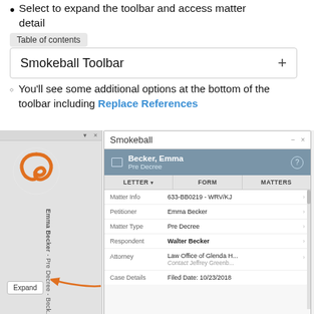Select to expand the toolbar and access matter detail
Table of contents
Smokeball Toolbar +
You'll see some additional options at the bottom of the toolbar including Replace References
[Figure (screenshot): Screenshot of Smokeball toolbar panel showing matter details for Becker, Emma - Pre Decree. Panel shows tabs: LETTER, FORM, MATTERS. Rows: Matter Info (633-BB0219 - WRV/KJ), Petitioner (Emma Becker), Matter Type (Pre Decree), Respondent (Walter Becker), Attorney (Law Office of Glenda H..., Contact Jeffrey Greenb...), Case Details (Filed Date: 10/23/2018). Left sidebar shows Smokeball logo and Emma Becker - Pre Decree - Becker text vertically. An orange arrow points to the Expand button on the left sidebar.]